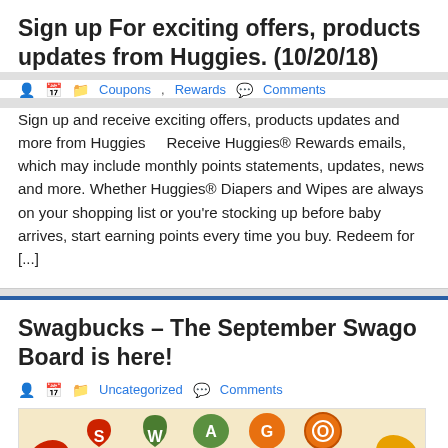Sign up For exciting offers, products updates from Huggies. (10/20/18)
👤  📅  🗂 Coupons, Rewards  💬 Comments
Sign up and receive exciting offers, products updates and more from Huggies    Receive Huggies® Rewards emails, which may include monthly points statements, updates, news and more. Whether Huggies® Diapers and Wipes are always on your shopping list or you're stocking up before baby arrives, start earning points every time you buy. Redeem for [...]
Swagbucks – The September Swago Board is here!
👤  📅  🗂 Uncategorized  💬 Comments
[Figure (illustration): Swagbucks SWAGO promotional banner on autumn/fall themed beige background with colorful leaf icons spelling SWAGO and text 'Join & Earn Up to a 500 SB Bonus!']